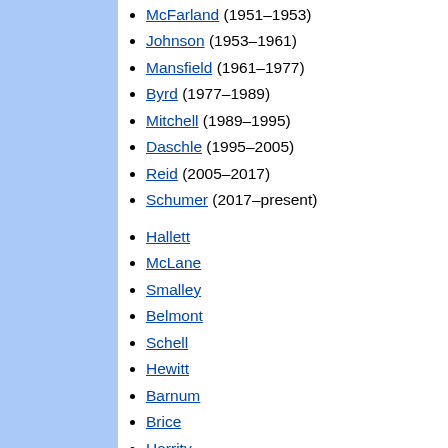McFarland (1951–1953)
Johnson (1953–1961)
Mansfield (1961–1977)
Byrd (1977–1989)
Mitchell (1989–1995)
Daschle (1995–2005)
Reid (2005–2017)
Schumer (2017–present)
Hallett
McLane
Smalley
Belmont
Schell
Hewitt
Barnum
Brice
Harrity
Jones
Taggart
Mack
McCombs
McCormick
Cummings
White